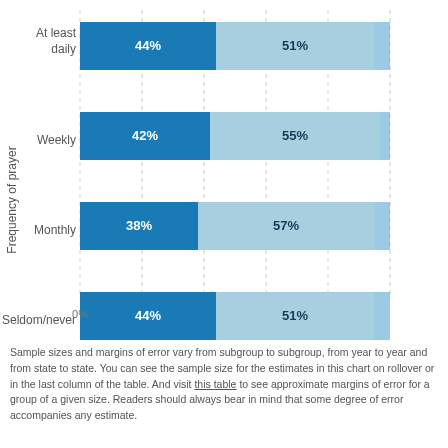[Figure (stacked-bar-chart): ]
Sample sizes and margins of error vary from subgroup to subgroup, from year to year and from state to state. You can see the sample size for the estimates in this chart on rollover or in the last column of the table. And visit this table to see approximate margins of error for a group of a given size. Readers should always bear in mind that some degree of error accompanies any estimate.